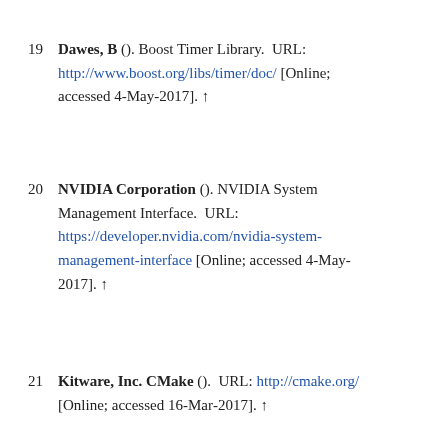19 Dawes, B (). Boost Timer Library. URL: http://www.boost.org/libs/timer/doc/ [Online; accessed 4-May-2017]. ↑
20 NVIDIA Corporation (). NVIDIA System Management Interface. URL: https://developer.nvidia.com/nvidia-system-management-interface [Online; accessed 4-May-2017]. ↑
21 Kitware, Inc. CMake (). URL: http://cmake.org/ [Online; accessed 16-Mar-2017]. ↑